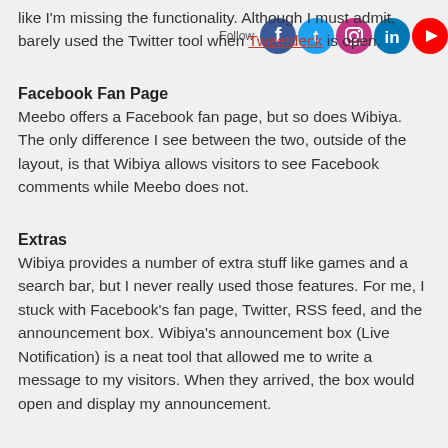like I'm missing the functionality. Although I must admit, barely used the Twitter tool when Tweetdeck is open.
[Figure (infographic): Social media follow bar with icons for Facebook, Twitter, Instagram, LinkedIn, and YouTube, with 'Follow' label]
Facebook Fan Page
Meebo offers a Facebook fan page, but so does Wibiya. The only difference I see between the two, outside of the layout, is that Wibiya allows visitors to see Facebook comments while Meebo does not.
Extras
Wibiya provides a number of extra stuff like games and a search bar, but I never really used those features. For me, I stuck with Facebook's fan page, Twitter, RSS feed, and the announcement box. Wibiya's announcement box (Live Notification) is a neat tool that allowed me to write a message to my visitors. When they arrived, the box would open and display my announcement.
Chat
The Meebo bar's most notable feature is the chat. The chat